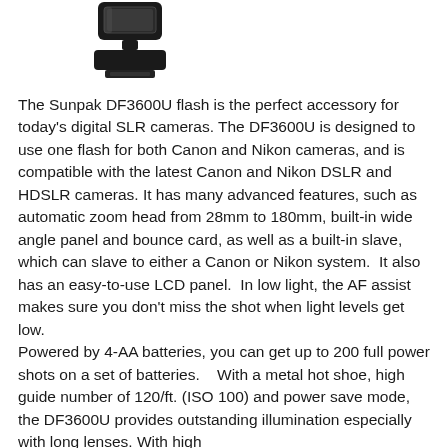[Figure (photo): Product photo of the Sunpak DF3600U flash unit, showing the flash head mounted on a base/foot, photographed against a white background.]
The Sunpak DF3600U flash is the perfect accessory for today's digital SLR cameras. The DF3600U is designed to use one flash for both Canon and Nikon cameras, and is compatible with the latest Canon and Nikon DSLR and HDSLR cameras. It has many advanced features, such as automatic zoom head from 28mm to 180mm, built-in wide angle panel and bounce card, as well as a built-in slave, which can slave to either a Canon or Nikon system.  It also has an easy-to-use LCD panel.  In low light, the AF assist makes sure you don't miss the shot when light levels get low.
Powered by 4-AA batteries, you can get up to 200 full power shots on a set of batteries.    With a metal hot shoe, high guide number of 120/ft. (ISO 100) and power save mode, the DF3600U provides outstanding illumination especially with long lenses. With high